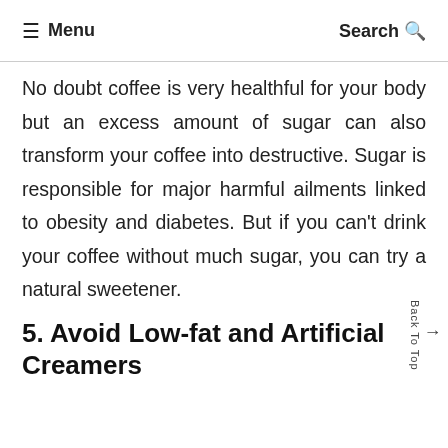≡ Menu    Search 🔍
No doubt coffee is very healthful for your body but an excess amount of sugar can also transform your coffee into destructive. Sugar is responsible for major harmful ailments linked to obesity and diabetes. But if you can't drink your coffee without much sugar, you can try a natural sweetener.
5. Avoid Low-fat and Artificial Creamers